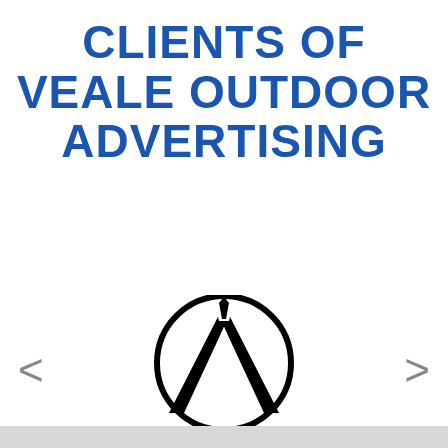CLIENTS OF VEALE OUTDOOR ADVERTISING
[Figure (logo): Acura brand logo: a circle outline containing a stylized A-shaped emblem in black, with the word ACURA in bold black capital letters beneath the circle.]